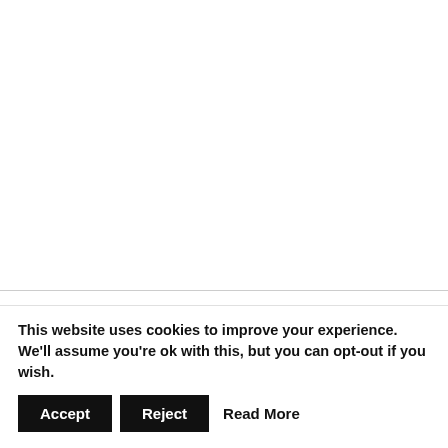| Name | Size | Link |
| --- | --- | --- |
| Peugeot Diesel Engines 1994-2001 Repair manual.rar | 21.5Mb | Download |
This website uses cookies to improve your experience. We'll assume you're ok with this, but you can opt-out if you wish.
Accept | Reject | Read More